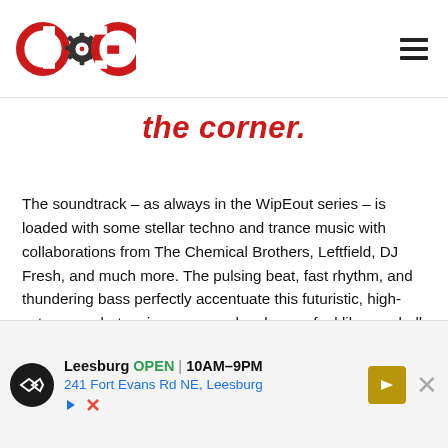COG logo and hamburger menu
the corner.
The soundtrack – as always in the WipEout series – is loaded with some stellar techno and trance music with collaborations from The Chemical Brothers, Leftfield, DJ Fresh, and much more. The pulsing beat, fast rhythm, and thundering bass perfectly accentuate this futuristic, high-octane combat racing game and make you feel like one hell of a bad ass pilot. I can't imagine any other sound instilling this kind of confidence with this gameplay.
[Figure (infographic): Advertisement banner for Leesburg store: open 10AM-9PM, 241 Fort Evans Rd NE, Leesburg, with navigation arrow icon and close button.]